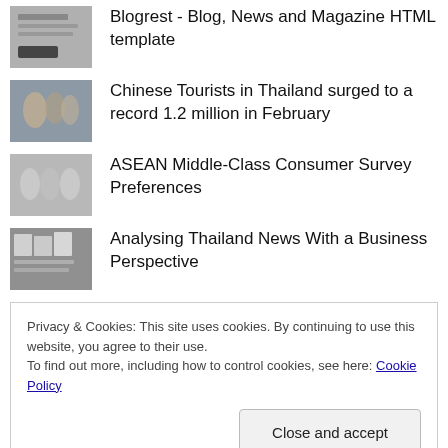Blogrest - Blog, News and Magazine HTML template
Chinese Tourists in Thailand surged to a record 1.2 million in February
ASEAN Middle-Class Consumer Survey Preferences
Analysing Thailand News With a Business Perspective
Privacy & Cookies: This site uses cookies. By continuing to use this website, you agree to their use.
To find out more, including how to control cookies, see here: Cookie Policy